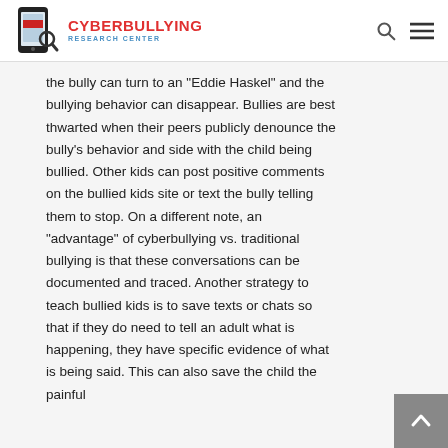CYBERBULLYING RESEARCH CENTER
the bully can turn to an "Eddie Haskel" and the bullying behavior can disappear. Bullies are best thwarted when their peers publicly denounce the bully's behavior and side with the child being bullied. Other kids can post positive comments on the bullied kids site or text the bully telling them to stop. On a different note, an "advantage" of cyberbullying vs. traditional bullying is that these conversations can be documented and traced. Another strategy to teach bullied kids is to save texts or chats so that if they do need to tell an adult what is happening, they have specific evidence of what is being said. This can also save the child the painful